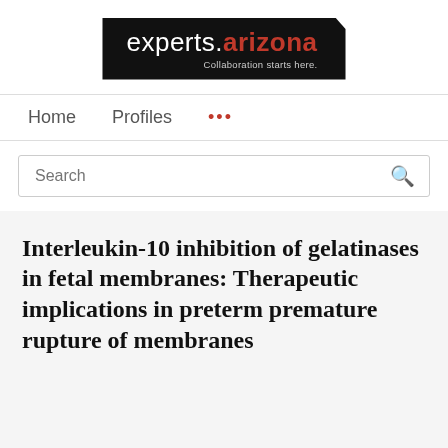[Figure (logo): experts.arizona logo with tagline 'Collaboration starts here.' on black background]
Home   Profiles   ...
Search
Interleukin-10 inhibition of gelatinases in fetal membranes: Therapeutic implications in preterm premature rupture of membranes